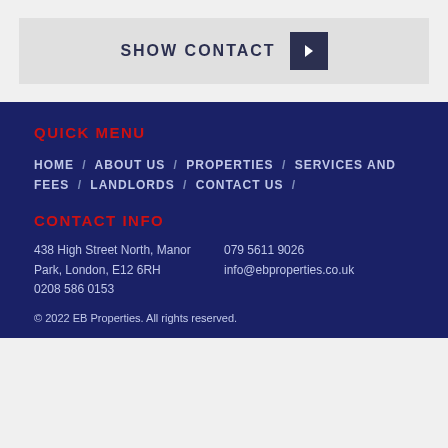[Figure (other): SHOW CONTACT button with dark navy arrow box on grey background]
QUICK MENU
HOME / ABOUT US / PROPERTIES / SERVICES AND FEES / LANDLORDS / CONTACT US /
CONTACT INFO
438 High Street North, Manor Park, London, E12 6RH
0208 586 0153
079 5611 9026
info@ebproperties.co.uk
© 2022 EB Properties. All rights reserved.